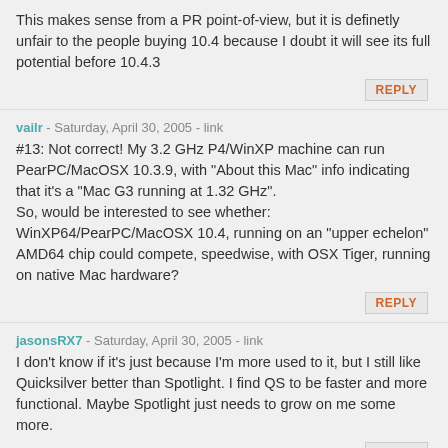This makes sense from a PR point-of-view, but it is definetly unfair to the people buying 10.4 because I doubt it will see its full potential before 10.4.3
REPLY
vailr - Saturday, April 30, 2005 - link
#13: Not correct! My 3.2 GHz P4/WinXP machine can run PearPC/MacOSX 10.3.9, with "About this Mac" info indicating that it's a "Mac G3 running at 1.32 GHz".
So, would be interested to see whether: WinXP64/PearPC/MacOSX 10.4, running on an "upper echelon" AMD64 chip could compete, speedwise, with OSX Tiger, running on native Mac hardware?
REPLY
jasonsRX7 - Saturday, April 30, 2005 - link
I don't know if it's just because I'm more used to it, but I still like Quicksilver better than Spotlight. I find QS to be faster and more functional. Maybe Spotlight just needs to grow on me some more.
REPLY
DerekWilson - Saturday, April 30, 2005 - link